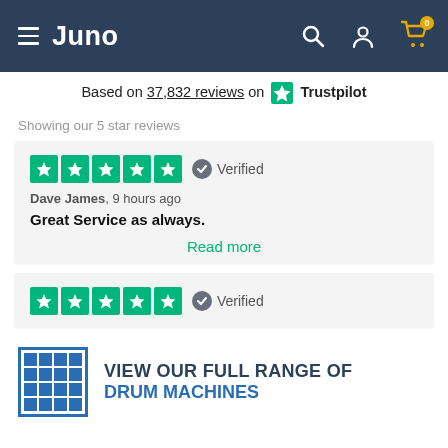Juno
Based on 37,832 reviews on Trustpilot
Showing our 5 star reviews
★★★★★ Verified
Dave James, 9 hours ago
Great Service as always.
Read more
★★★★★ Verified
VIEW OUR FULL RANGE OF DRUM MACHINES